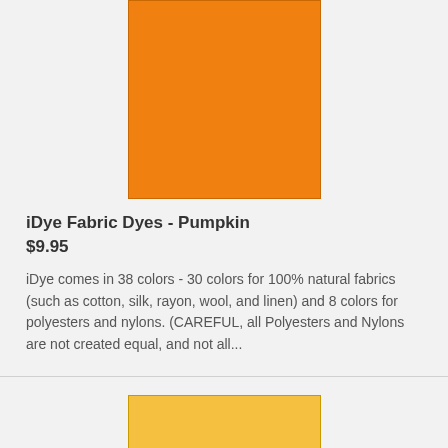[Figure (illustration): Orange color swatch for iDye Fabric Dyes Pumpkin product]
iDye Fabric Dyes - Pumpkin
$9.95
iDye comes in 38 colors - 30 colors for 100% natural fabrics (such as cotton, silk, rayon, wool, and linen) and 8 colors for polyesters and nylons. (CAREFUL, all Polyesters and Nylons are not created equal, and not all...
[Figure (illustration): Yellow/golden color swatch for second iDye Fabric Dyes product]